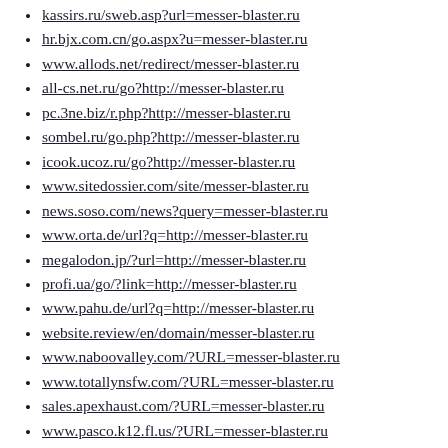kassirs.ru/sweb.asp?url=messer-blaster.ru
hr.bjx.com.cn/go.aspx?u=messer-blaster.ru
www.allods.net/redirect/messer-blaster.ru
all-cs.net.ru/go?http://messer-blaster.ru
pc.3ne.biz/r.php?http://messer-blaster.ru
sombel.ru/go.php?http://messer-blaster.ru
icook.ucoz.ru/go?http://messer-blaster.ru
www.sitedossier.com/site/messer-blaster.ru
news.soso.com/news?query=messer-blaster.ru
www.orta.de/url?q=http://messer-blaster.ru
megalodon.jp/?url=http://messer-blaster.ru
profi.ua/go/?link=http://messer-blaster.ru
www.pahu.de/url?q=http://messer-blaster.ru
website.review/en/domain/messer-blaster.ru
www.naboovalley.com/?URL=messer-blaster.ru
www.totallynsfw.com/?URL=messer-blaster.ru
sales.apexhaust.com/?URL=messer-blaster.ru
www.pasco.k12.fl.us/?URL=messer-blaster.ru
anybeats.jp/jump/?http://messer-blaster.ru